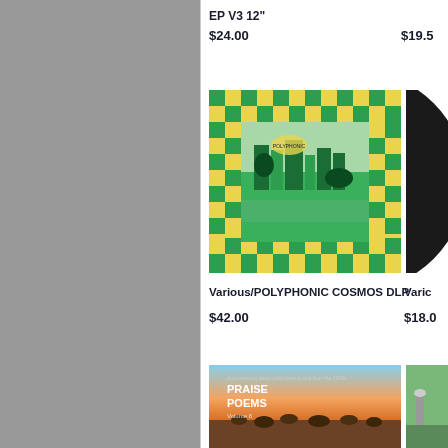EP V3 12"
$24.00
$19.5
[Figure (photo): Album cover for Various/POLYPHONIC COSMOS DLP featuring a green and yellow checkered border with a cityscape and tropical scene]
[Figure (photo): Partially visible black vinyl record or dark album cover on the right side]
Various/POLYPHONIC COSMOS DLP
Varic
$42.00
$18.0
[Figure (photo): Album cover for Praise Poems Volume 8 - A journey into deep soulful jazz & funk from the 1970s, showing dandelions in a field at sunset]
[Figure (photo): Partially visible album cover on the right side showing a green outdoor scene]